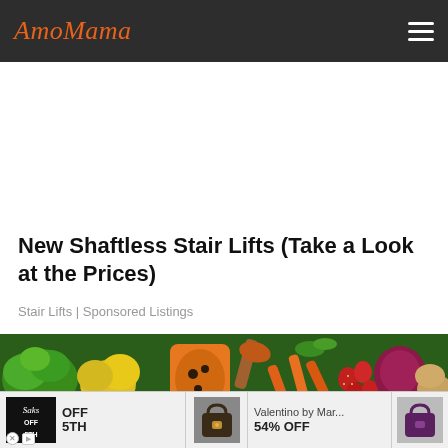AmoMama
New Shaftless Stair Lifts (Take a Look at the Prices)
Stair Lifts | Sponsored Listings
[Figure (photo): Wide photo of colorful fresh vegetables and fruits including broccoli, yellow peppers, papaya, carrots, strawberries, red onions, and potatoes arranged together]
[Figure (photo): Bottom advertisement strip showing: Saks OFF 5TH ad with handbag image, and Valentino by Mar... 54% OFF ad with purple handbag image]